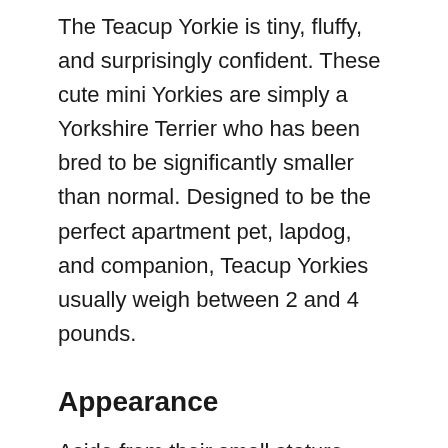The Teacup Yorkie is tiny, fluffy, and surprisingly confident. These cute mini Yorkies are simply a Yorkshire Terrier who has been bred to be significantly smaller than normal. Designed to be the perfect apartment pet, lapdog, and companion, Teacup Yorkies usually weigh between 2 and 4 pounds.
Appearance
Aside from their small stature, Teacup Yorkies look the same as their larger counterparts. They have small lean bodies covered in thick fur. Their heads are relatively boxy and their snouts are shallow compared to other dog breeds. On the top of their head, they have perky ears that are always standing at attention. On their back end, they can